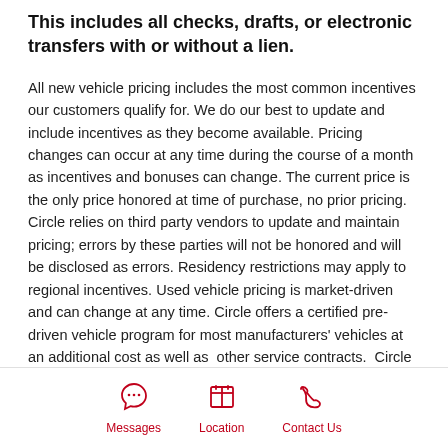This includes all checks, drafts, or electronic transfers with or without a lien.
All new vehicle pricing includes the most common incentives our customers qualify for. We do our best to update and include incentives as they become available. Pricing changes can occur at any time during the course of a month as incentives and bonuses can change. The current price is the only price honored at time of purchase, no prior pricing.  Circle relies on third party vendors to update and maintain pricing; errors by these parties will not be honored and will be disclosed as errors. Residency restrictions may apply to regional incentives. Used vehicle pricing is market-driven and can change at any time. Circle offers a certified pre-driven vehicle program for most manufacturers' vehicles at an additional cost as well as  other service contracts.  Circle reserves the right to accept or refuse outside financing; some vehicle incentives and discounts are contingent upon financing through one of Circle's or
Messages  Location  Contact Us